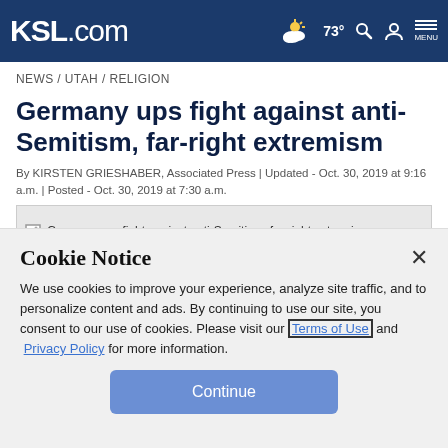KSL.com | 73° | Search | Account | MENU
NEWS / UTAH / RELIGION
Germany ups fight against anti-Semitism, far-right extremism
By KIRSTEN GRIESHABER, Associated Press | Updated - Oct. 30, 2019 at 9:16 a.m. | Posted - Oct. 30, 2019 at 7:30 a.m.
[Figure (photo): Germany ups fight against anti-Semitism, far-right extremism — article image placeholder]
Cookie Notice
We use cookies to improve your experience, analyze site traffic, and to personalize content and ads. By continuing to use our site, you consent to our use of cookies. Please visit our Terms of Use and Privacy Policy for more information.
Continue